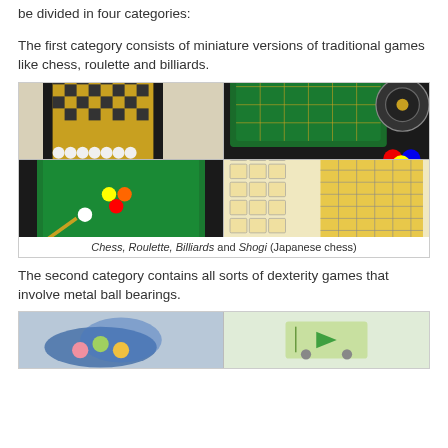be divided in four categories:
The first category consists of miniature versions of traditional games like chess, roulette and billiards.
[Figure (photo): Four miniature traditional games: Chess (top-left), Roulette (top-right), Billiards (bottom-left), and Shogi/Japanese chess (bottom-right). Watermark: beforemario.com]
Chess, Roulette, Billiards and Shogi (Japanese chess)
The second category contains all sorts of dexterity games that involve metal ball bearings.
[Figure (photo): Two partially visible game items at the bottom of the page.]